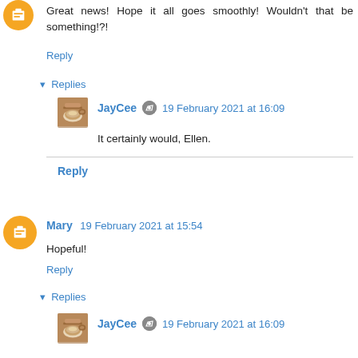[Figure (illustration): Orange circle avatar with blogger icon at top left]
Great news! Hope it all goes smoothly! Wouldn't that be something!?!
Reply
▾ Replies
[Figure (photo): Small square thumbnail of a coffee cup latte art]
JayCee  19 February 2021 at 16:09
It certainly would, Ellen.
Reply
[Figure (illustration): Orange circle avatar with blogger icon]
Mary  19 February 2021 at 15:54
Hopeful!
Reply
▾ Replies
[Figure (photo): Small square thumbnail of a coffee cup latte art]
JayCee  19 February 2021 at 16:09